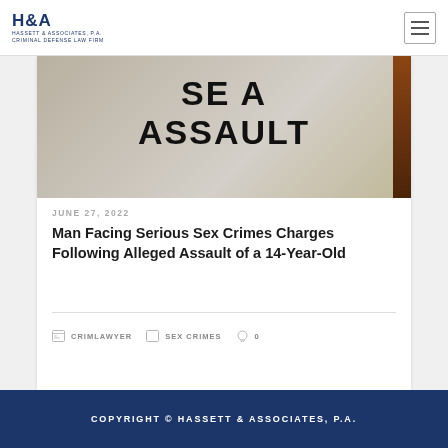H&A HASSETT & ASSOCIATES, P.A. CRIMINAL DEFENSE LAW FIRM
[Figure (photo): Close-up photo of a document or placard with the words 'SEX ASSAULT' printed in large bold black letters on a gray/white surface, with a wooden background and red accent visible on the right edge.]
JUNE 27, 2022
Man Facing Serious Sex Crimes Charges Following Alleged Assault of a 14-Year-Old
CRIMLAWYER   SEX CRIMES   0
COPYRIGHT © HASSETT & ASSOCIATES, P.A.